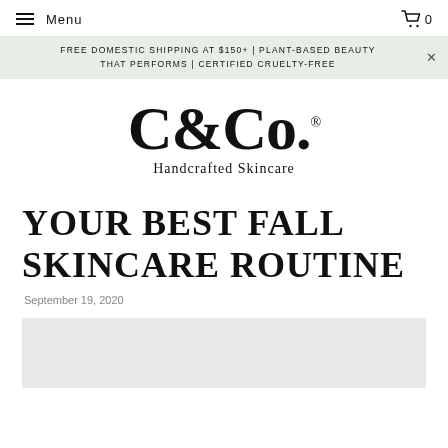≡ Menu    🛒 0
FREE DOMESTIC SHIPPING AT $150+ | PLANT-BASED BEAUTY THAT PERFORMS | CERTIFIED CRUELTY-FREE
[Figure (logo): C&Co. Handcrafted Skincare logo in serif font]
YOUR BEST FALL SKINCARE ROUTINE
September 19, 2020
[Figure (photo): Gray placeholder image area for article photo]